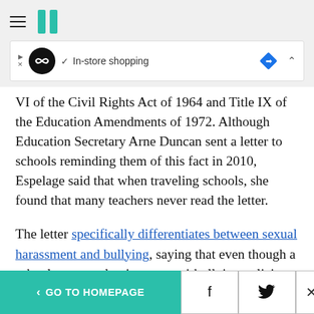HuffPost navigation header
[Figure (other): Advertisement banner with logo, In-store shopping text, navigation icon and collapse chevron]
VI of the Civil Rights Act of 1964 and Title IX of the Education Amendments of 1972. Although Education Secretary Arne Duncan sent a letter to schools reminding them of this fact in 2010, Espelage said that when traveling schools, she found that many teachers never read the letter.
The letter specifically differentiates between sexual harassment and bullying, saying that even though a school may employ its own anti-bullying policies
< GO TO HOMEPAGE | Facebook | Twitter | X